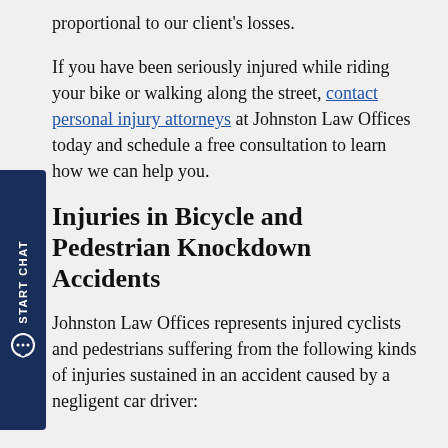proportional to our client's losses.
If you have been seriously injured while riding your bike or walking along the street, contact personal injury attorneys at Johnston Law Offices today and schedule a free consultation to learn how we can help you.
Injuries in Bicycle and Pedestrian Knockdown Accidents
Johnston Law Offices represents injured cyclists and pedestrians suffering from the following kinds of injuries sustained in an accident caused by a negligent car driver: